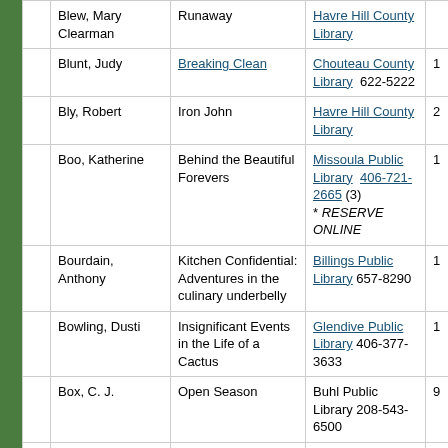|  | Author | Title | Library | # |
| --- | --- | --- | --- | --- |
|  | Blew, Mary Clearman | Runaway | Havre Hill County Library |  |
|  | Blunt, Judy | Breaking Clean | Chouteau County Library  622-5222 | 1 |
|  | Bly, Robert | Iron John | Havre Hill County Library | 2 |
|  | Boo, Katherine | Behind the Beautiful Forevers | Missoula Public Library  406-721-2665 (3)  * RESERVE ONLINE | 1 |
|  | Bourdain, Anthony | Kitchen Confidential: Adventures in the culinary underbelly | Billings Public Library 657-8290 | 1 |
|  | Bowling, Dusti | Insignificant Events in the Life of a Cactus | Glendive Public Library 406-377-3633 | 1 |
|  | Box, C. J. | Open Season | Buhl Public Library 208-543-6500 | 9 |
|  | Box, C. J. | Open Season | Miles City Public Library  234-1496 | 1 |
|  | Boyne, John | The Boy in the... | Livingston Park... |  |